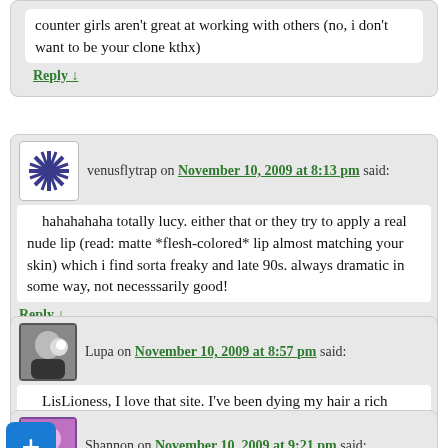counter girls aren't great at working with others (no, i don't want to be your clone kthx)
Reply ↓
venusflytrap on November 10, 2009 at 8:13 pm said:
hahahahaha totally lucy. either that or they try to apply a real nude lip (read: matte *flesh-colored* lip almost matching your skin) which i find sorta freaky and late 90s. always dramatic in some way, not necesssarily good!
Reply ↓
Lupa on November 10, 2009 at 8:57 pm said:
LisLioness, I love that site. I've been dying my hair a rich auburn with henna for years now.
Reply ↓
Shannon on November 10, 2009 at 9:21 pm said:
LOL venusflytrap – I never understood the point of nude lipstick. Let's make my lips look … LESS like an important part of my face? Hi, I totally WAY too classy and refined for that ...